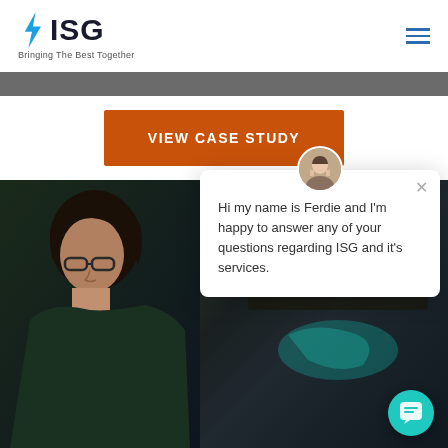[Figure (logo): ISG logo with lightning bolt and tagline 'Bringing The Best Together']
[Figure (screenshot): Navigation hamburger menu icon (three horizontal blue lines)]
[Figure (other): Gray horizontal bar beneath the header]
VIEW CASE STUDY
[Figure (photo): Woman with glasses looking at data screens in a dark control room environment]
Hi my name is Ferdie and I'm happy to answer any of your questions regarding ISG and it's services.
[Figure (illustration): Teal/cyan floating chat bubble button in bottom right corner]